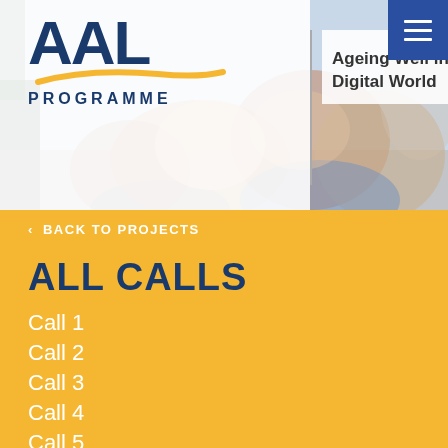[Figure (photo): AAL Programme website header with logo on white background and clapping hands photo. Logo shows 'AAL' in large dark blue bold text with a yellow swoosh underneath and 'PROGRAMME' in spaced dark blue caps. Tagline reads 'Ageing Well in the Digital World'. A blue hamburger menu icon is in the top right corner.]
< BACK TO PROJECTS
ALL CALLS
Call 1
Call 2
Call 3
Call 4
Call 5